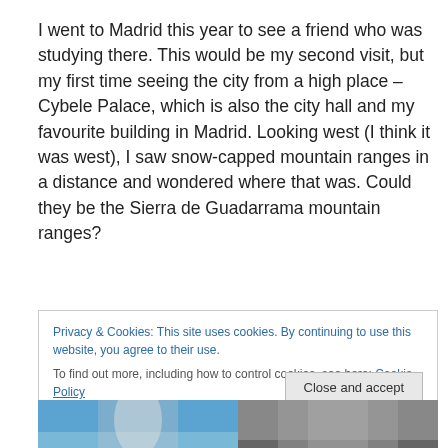I went to Madrid this year to see a friend who was studying there. This would be my second visit, but my first time seeing the city from a high place – Cybele Palace, which is also the city hall and my favourite building in Madrid. Looking west (I think it was west), I saw snow-capped mountain ranges in a distance and wondered where that was. Could they be the Sierra de Guadarrama mountain ranges?
Privacy & Cookies: This site uses cookies. By continuing to use this website, you agree to their use.
To find out more, including how to control cookies, see here: Cookie Policy
[Figure (photo): Two photos side by side at the bottom of the page, partially visible. Left photo shows a blue sky scene, right photo shows a building or architectural structure in grayscale.]